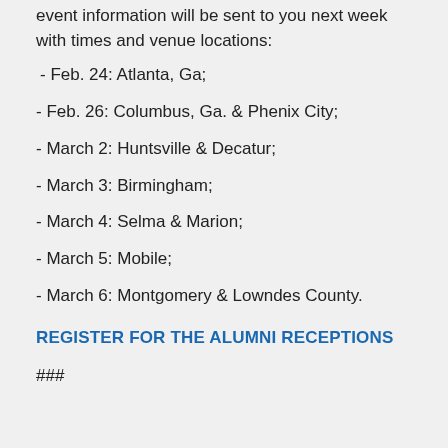event information will be sent to you next week with times and venue locations:
- Feb. 24: Atlanta, Ga;
- Feb. 26: Columbus, Ga. & Phenix City;
- March 2: Huntsville & Decatur;
- March 3: Birmingham;
- March 4: Selma & Marion;
- March 5: Mobile;
- March 6: Montgomery & Lowndes County.
REGISTER FOR THE ALUMNI RECEPTIONS
###